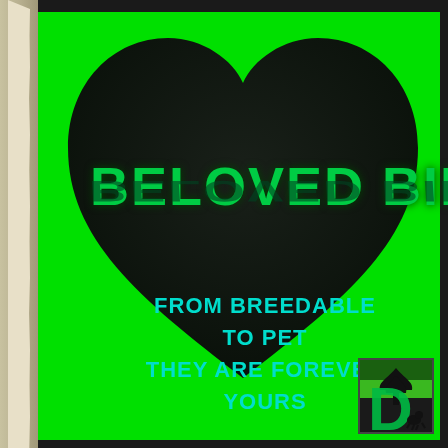[Figure (illustration): Promotional graphic with bright green background, large black heart shape in center, bold green text 'BELOVED BIR' (truncated, full text 'BELOVED BIRDS') with reflection, cyan tagline text 'FROM BREEDABLE TO PET THEY ARE FOREVER YOURS', small logo box bottom right with tree/animal silhouette, and torn paper strip on left edge.]